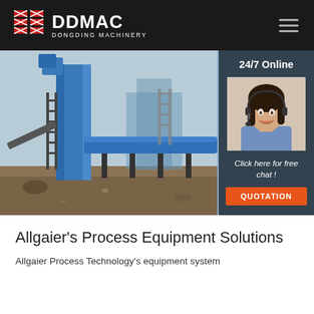DDMAC DONGDING MACHINERY
[Figure (photo): Industrial rotary dryer / dust collector equipment in blue color, large cylindrical drum on outdoor site with scaffolding and dirt ground. Overlay panel on right showing '24/7 Online', a customer service agent with headset, 'Click here for free chat!', and QUOTATION button.]
Allgaier's Process Equipment Solutions
Allgaier Process Technology's equipment system